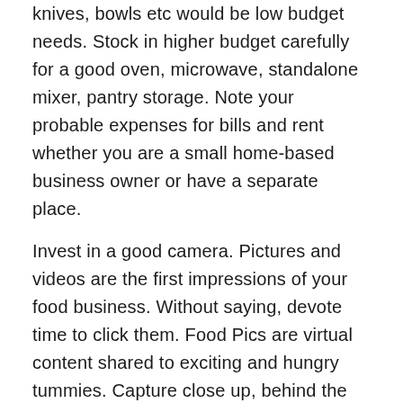knives, bowls etc would be low budget needs. Stock in higher budget carefully for a good oven, microwave, standalone mixer, pantry storage. Note your probable expenses for bills and rent whether you are a small home-based business owner or have a separate place.
Invest in a good camera. Pictures and videos are the first impressions of your food business. Without saying, devote time to click them. Food Pics are virtual content shared to exciting and hungry tummies. Capture close up, behind the scenes shots while doing the prep for the menu till it is served.
Food pictures/ videos are social proof to kickstart your journey as Cooking Artists/ Bakers in future.